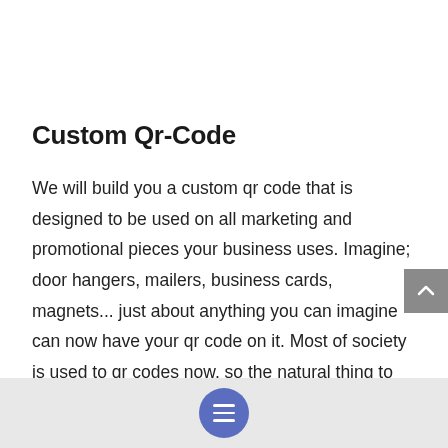Custom Qr-Code
We will build you a custom qr code that is designed to be used on all marketing and promotional pieces your business uses. Imagine; door hangers, mailers, business cards, magnets... just about anything you can imagine can now have your qr code on it. Most of society is used to qr codes now, so the natural thing to do when we see one is ... scan it! The user